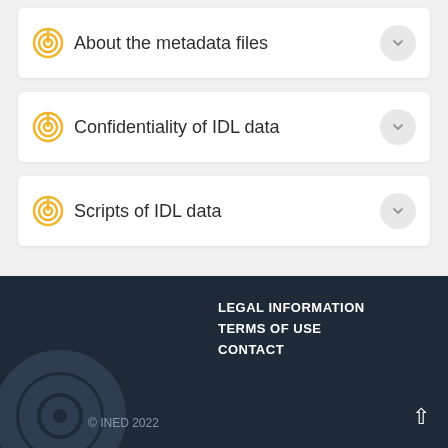About the metadata files
Confidentiality of IDL data
Scripts of IDL data
LEGAL INFORMATION  TERMS OF USE  CONTACT  © INED 2022